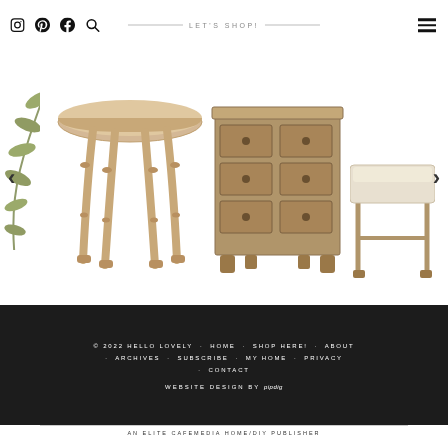Social icons (Instagram, Pinterest, Facebook, Search) | LET'S SHOP! | Hamburger menu
[Figure (photo): Website product carousel showing furniture items: partial olive branch on far left, a round wooden dining table with turned legs, a 6-drawer wooden dresser/chest, an upholstered bench with wooden legs, and right navigation arrow. Left arrow also visible.]
© 2022 HELLO LOVELY · HOME · SHOP HERE! · ABOUT · ARCHIVES · SUBSCRIBE · MY HOME · PRIVACY · CONTACT  WEBSITE DESIGN BY pipdig  AN ELITE CAFEMEDIA HOME/DIY PUBLISHER